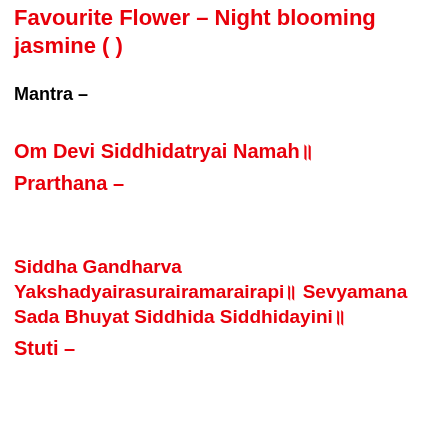Favourite Flower – Night blooming jasmine (                    )
Mantra –
Om Devi Siddhidatryai Namah॥
Prarthana –
Siddha Gandharva Yakshadyairasurairamarairapi॥ Sevyamana Sada Bhuyat Siddhida Siddhidayini॥
Stuti –